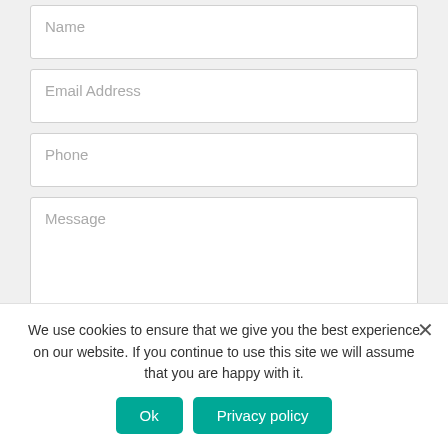Name
Email Address
Phone
Message
Send Message
[Figure (logo): reCAPTCHA logo — circular arrow icon in blue]
We use cookies to ensure that we give you the best experience on our website. If you continue to use this site we will assume that you are happy with it.
Ok
Privacy policy